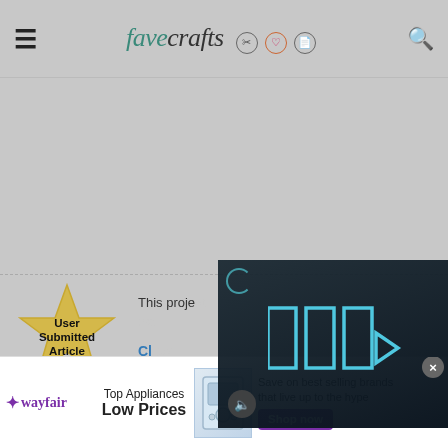favecrafts [scissors icon] [heart icon] [book icon] [search icon]
[Figure (screenshot): Gray placeholder area for advertisement content]
This proje...
User Submitted Article
Cl...
[Figure (screenshot): Video overlay with play button and mute button on dark background showing a person in a room]
READ NEXT: Afterglow [link continues]
[Figure (screenshot): Wayfair advertisement banner: Top Appliances Low Prices, Save on best selling brands that live up to the hype, Shop now button, appliance image]